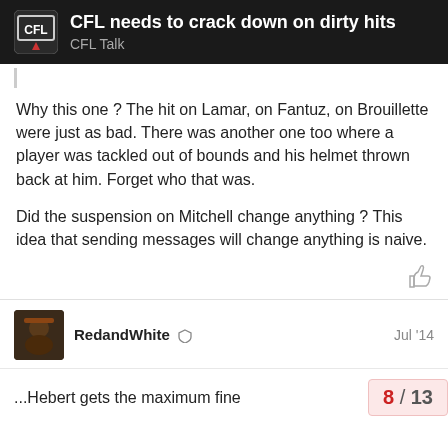CFL needs to crack down on dirty hits — CFL Talk
Why this one ? The hit on Lamar, on Fantuz, on Brouillette were just as bad. There was another one too where a player was tackled out of bounds and his helmet thrown back at him. Forget who that was.

Did the suspension on Mitchell change anything ? This idea that sending messages will change anything is naive.
RedandWhite   Jul '14
...Hebert gets the maximum fine   8 / 13